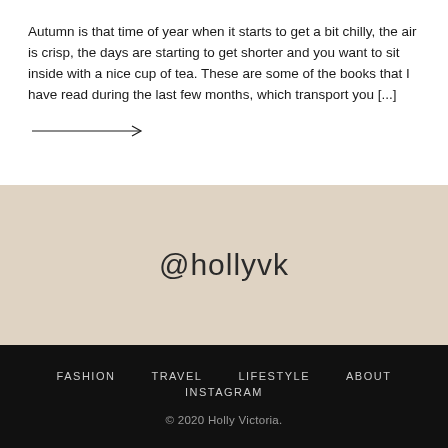Autumn is that time of year when it starts to get a bit chilly, the air is crisp, the days are starting to get shorter and you want to sit inside with a nice cup of tea. These are some of the books that I have read during the last few months, which transport you [...]
[Figure (other): A horizontal arrow (right-pointing) link indicator]
@hollyvk
FASHION   TRAVEL   LIFESTYLE   ABOUT   INSTAGRAM
© 2020 Holly Victoria.